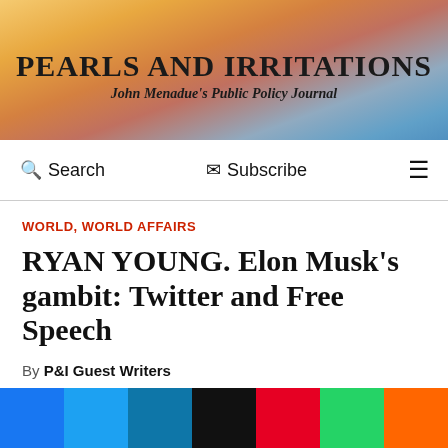PEARLS AND IRRITATIONS
John Menadue's Public Policy Journal
Search | Subscribe | Menu
WORLD, WORLD AFFAIRS
RYAN YOUNG. Elon Musk's gambit: Twitter and Free Speech
By P&I Guest Writers
Jun 23, 2022